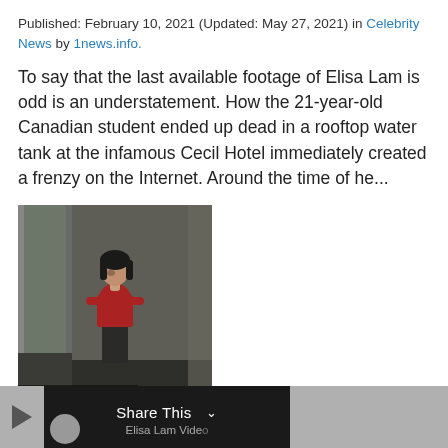Published: February 10, 2021 (Updated: May 27, 2021) in Celebrity News by 1news.info.
To say that the last available footage of Elisa Lam is odd is an understatement. How the 21-year-old Canadian student ended up dead in a rooftop water tank at the infamous Cecil Hotel immediately created a frenzy on the Internet. Around the time of he...
[Figure (photo): CCTV footage still image of a young woman in a red top standing in what appears to be an elevator or doorway. Timestamp overlay visible at bottom left.]
Share This ∨
Elisa Lam Video